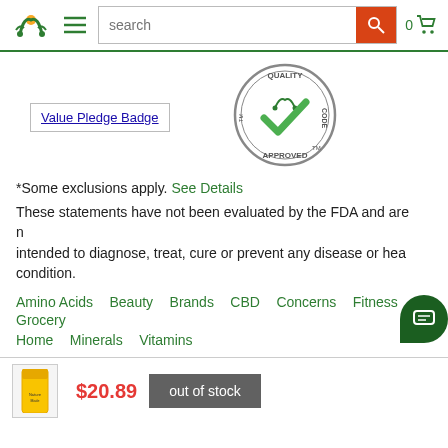search | 0 cart
[Figure (logo): Iherb-style green leaf logo icon and hamburger menu]
[Figure (logo): Value Pledge Badge - linked image placeholder]
[Figure (illustration): Quality Code Approved stamp - circular stamp with green checkmark]
*Some exclusions apply. See Details
These statements have not been evaluated by the FDA and are not intended to diagnose, treat, cure or prevent any disease or health condition.
Amino Acids  Beauty  Brands  CBD  Concerns  Fitness  Grocery  Home  Minerals  Vitamins
$20.89  out of stock